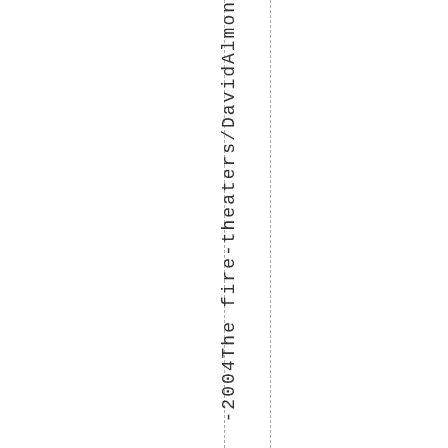-2004TheFireTheaters/DavidAlmon